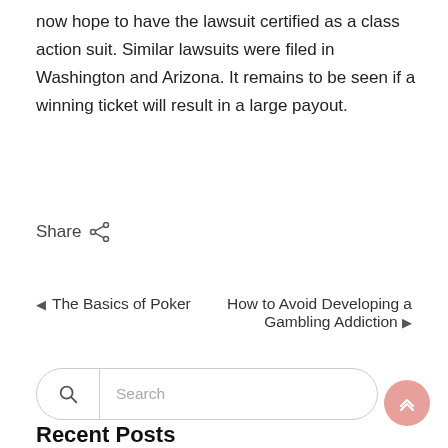now hope to have the lawsuit certified as a class action suit. Similar lawsuits were filed in Washington and Arizona. It remains to be seen if a winning ticket will result in a large payout.
Share
◄ The Basics of Poker
How to Avoid Developing a Gambling Addiction ►
Search
Recent Posts